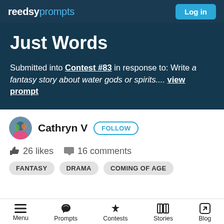reedsy prompts — Log in
Just Words
Submitted into Contest #83 in response to: Write a fantasy story about water gods or spirits.... view prompt
Cathryn V  FOLLOW
26 likes  16 comments
FANTASY
DRAMA
COMING OF AGE
Menu  Prompts  Contests  Stories  Blog